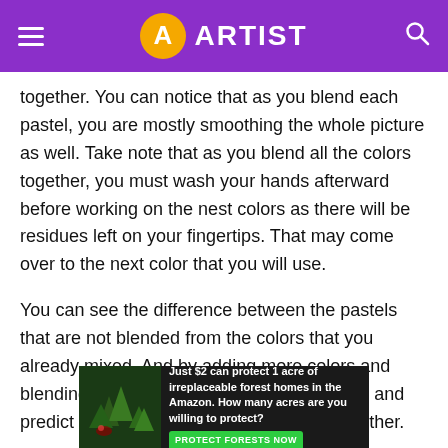ARTIST
together. You can notice that as you blend each pastel, you are mostly smoothing the whole picture as well. Take note that as you blend all the colors together, you must wash your hands afterward before working on the nest colors as there will be residues left on your fingertips. That may come over to the next color that you will use.
You can see the difference between the pastels that are not blended from the colors that you already mixed. And by adding more colors and blending them over will help you know more and predict each color once they are mixed together.
You can add light color pastels to give that glowing look on your painting surface. Adding a darker color can then highlight other parts of the painting or drawing that needs that cloudy or shadowy effect. If you notice that you really want to express some
[Figure (infographic): Advertisement banner: forest protection ad with text 'Just $2 can protect 1 acre of irreplaceable forest homes in the Amazon. How many acres are you willing to protect?' with a green 'PROTECT FORESTS NOW' button and a nature background image.]